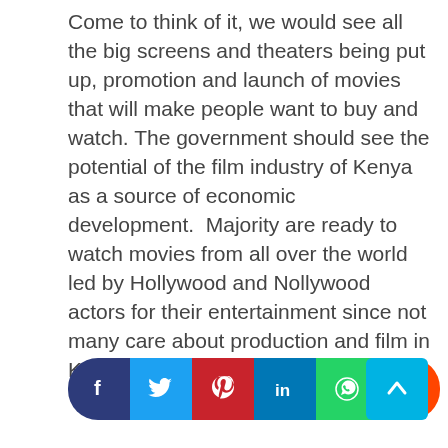Come to think of it, we would see all the big screens and theaters being put up, promotion and launch of movies that will make people want to buy and watch. The government should see the potential of the film industry of Kenya as a source of economic development. Majority are ready to watch movies from all over the world led by Hollywood and Nollywood actors for their entertainment since not many care about production and film in Kenya,
Opinion, Urban Info
economy, film industry
[Figure (infographic): Social share buttons: Facebook, Twitter, Pinterest, LinkedIn, WhatsApp, Reddit, and a back-to-top button]